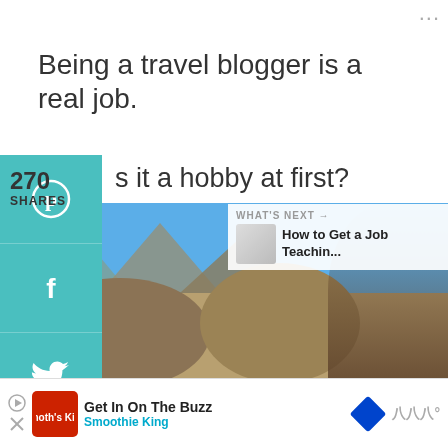Being a travel blogger is a real job.
s it a hobby at first? Absolutely.
once I decided that I wanted to make ney with it, I settled in and put all my orts into finding a way to bring in cash all le I was building a business, because t's what this blog is, a business.
[Figure (photo): Photo of rocky landscape with blue sky and a woman with sunglasses smiling in the foreground]
270 SHARES
WHAT'S NEXT → How to Get a Job Teachin...
Get In On The Buzz Smoothie King